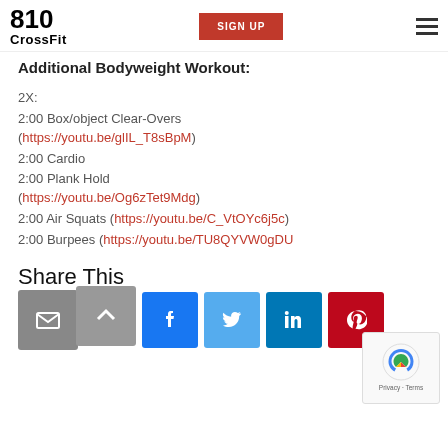810 CrossFit | SIGN UP
Additional Bodyweight Workout:
2X:
2:00 Box/object Clear-Overs (https://youtu.be/glIL_T8sBpM)
2:00 Cardio
2:00 Plank Hold (https://youtu.be/Og6zTet9Mdg)
2:00 Air Squats (https://youtu.be/C_VtOYc6j5c)
2:00 Burpees (https://youtu.be/TU8QYVW0gDU
Share This
[Figure (other): Share buttons: email, Facebook, Twitter, LinkedIn, Pinterest]